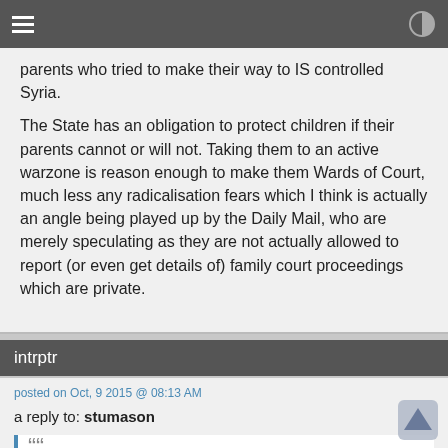≡  ◑
parents who tried to make their way to IS controlled Syria.

The State has an obligation to protect children if their parents cannot or will not. Taking them to an active warzone is reason enough to make them Wards of Court, much less any radicalisation fears which I think is actually an angle being played up by the Daily Mail, who are merely speculating as they are not actually allowed to report (or even get details of) family court proceedings which are private.
intrptr
posted on Oct, 9 2015 @ 08:13 AM
a reply to: stumason
There was no "might" about it - the children were with their parents who tried to make their way to IS controlled Syria.